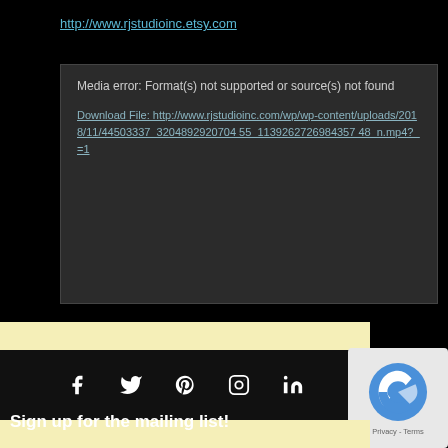http://www.rjstudioinc.etsy.com
[Figure (screenshot): Media error box showing: 'Media error: Format(s) not supported or source(s) not found' and a download link to http://www.rjstudioinc.com/wp/wp-content/uploads/2018/11/44503337_3204892920704 55_1139262726984357 48_n.mp4?_=1]
[Figure (infographic): Social media icons row: Facebook, Twitter, Pinterest, Instagram, LinkedIn]
[Figure (logo): reCAPTCHA badge with Privacy and Terms text]
Sign up for the mailing list!